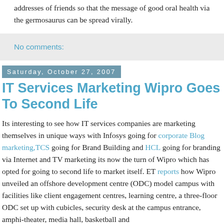addresses of friends so that the message of good oral health via the germosaurus can be spread virally.
No comments:
Saturday, October 27, 2007
IT Services Marketing Wipro Goes To Second Life
Its interesting to see how IT services companies are marketing themselves in unique ways with Infosys going for corporate Blog marketing,TCS going for Brand Building and HCL going for branding via Internet and TV marketing its now the turn of Wipro which has opted for going to second life to market itself. ET reports how Wipro unveiled an offshore development centre (ODC) model campus with facilities like client engagement centres, learning centre, a three-floor ODC set up with cubicles, security desk at the campus entrance, amphi-theater, media hall, basketball and